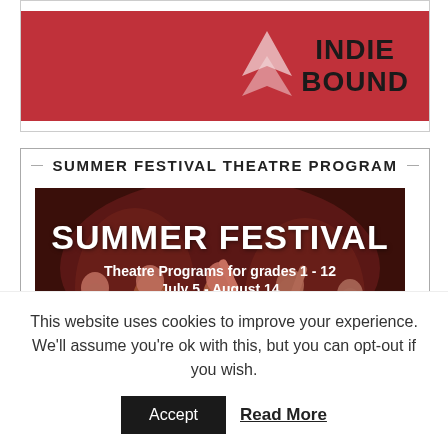[Figure (logo): IndieBound logo on red/crimson background with stylized book pages icon]
SUMMER FESTIVAL THEATRE PROGRAM
[Figure (photo): Summer Festival theatre program promotional image showing students performing on stage with bold text overlay reading 'SUMMER FESTIVAL Theatre Programs for grades 1 - 12 July 5 - August 14']
This website uses cookies to improve your experience. We'll assume you're ok with this, but you can opt-out if you wish.
Accept
Read More